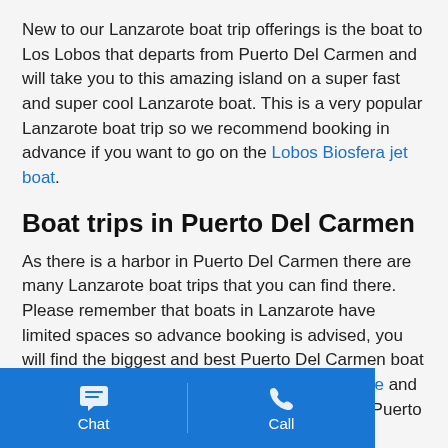New to our Lanzarote boat trip offerings is the boat to Los Lobos that departs from Puerto Del Carmen and will take you to this amazing island on a super fast and super cool Lanzarote boat. This is a very popular Lanzarote boat trip so we recommend booking in advance if you want to go on the Lobos Biosfera jet boat.
Boat trips in Puerto Del Carmen
As there is a harbor in Puerto Del Carmen there are many Lanzarote boat trips that you can find there. Please remember that boats in Lanzarote have limited spaces so advance booking is advised, you will find the biggest and best Puerto Del Carmen boat trips like the I Love Papagayo Catamaran cruise and the small taxi boat from Puerto Del Carmen to Puerto Calero. You will also find a Lanzarote boat tour company called Biosfera that also has many boat trips from Puerto Del Carmen. They are called Lanzarote Sea Tours om Los Lobos to Sunset cruises with All of these can be booked on this
Chat | Call